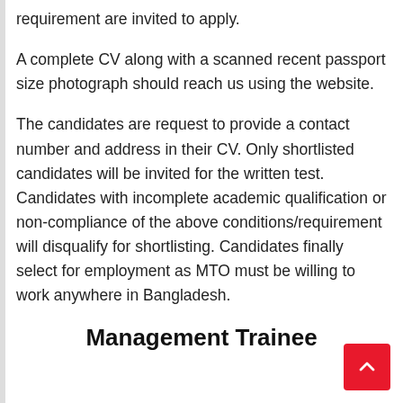requirement are invited to apply.
A complete CV along with a scanned recent passport size photograph should reach us using the website.
The candidates are request to provide a contact number and address in their CV. Only shortlisted candidates will be invited for the written test. Candidates with incomplete academic qualification or non-compliance of the above conditions/requirement will disqualify for shortlisting. Candidates finally select for employment as MTO must be willing to work anywhere in Bangladesh.
Management Trainee